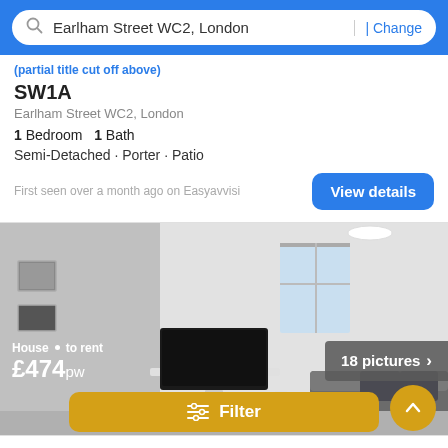Earlham Street WC2, London | Change
SW1A
Earlham Street WC2, London
1 Bedroom  1 Bath
Semi-Detached · Porter · Patio
First seen over a month ago on Easyavvisi
[Figure (photo): Interior photo of a living room with a flat-screen TV, sofa, window, and framed pictures on the wall]
House · to rent
£474pw
18 pictures
Filter